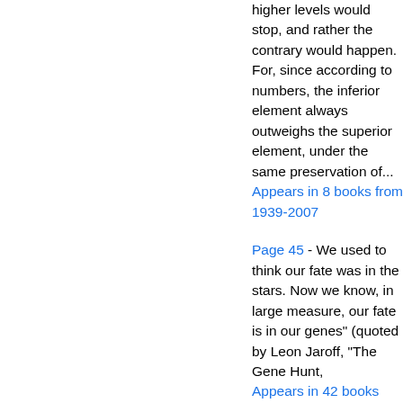higher levels would stop, and rather the contrary would happen. For, since according to numbers, the inferior element always outweighs the superior element, under the same preservation of...
Appears in 8 books from 1939-2007
Page 45 - We used to think our fate was in the stars. Now we know, in large measure, our fate is in our genes" (quoted by Leon Jaroff, "The Gene Hunt,
Appears in 42 books from 1991-2008
Page 19 - Looking to the world at no very distant